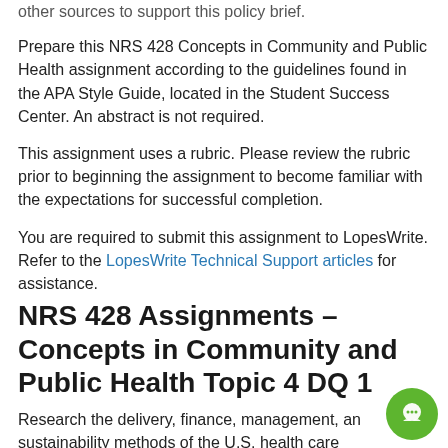other sources to support this policy brief.
Prepare this NRS 428 Concepts in Community and Public Health assignment according to the guidelines found in the APA Style Guide, located in the Student Success Center. An abstract is not required.
This assignment uses a rubric. Please review the rubric prior to beginning the assignment to become familiar with the expectations for successful completion.
You are required to submit this assignment to LopesWrite. Refer to the LopesWrite Technical Support articles for assistance.
NRS 428 Assignments – Concepts in Community and Public Health Topic 4 DQ 1
Research the delivery, finance, management, and sustainability methods of the U.S. health care